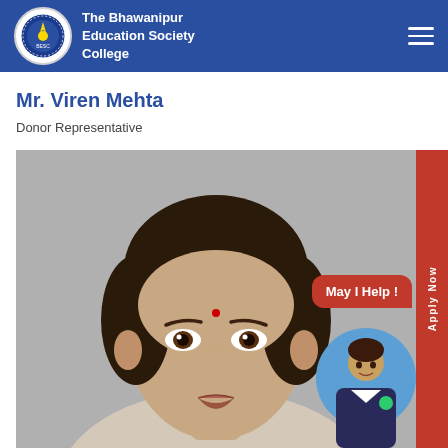The Bhawanipur Education Society College
Mr. Viren Mehta
Donor Representative
[Figure (photo): Headshot photo of a woman with dark hair pulled back, wearing a red bindi, against a light grey background. A 'May I Help!' chat widget and an avatar overlay appear in the bottom-right corner.]